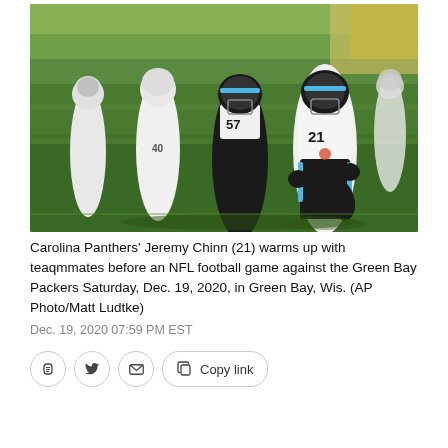[Figure (photo): Carolina Panthers players including Jeremy Chinn (21) and teammates (57, 40, others in background) in white and black uniforms with blue accents, warming up on a football field before a game. Green Bay Packers game, Dec. 19, 2020.]
Carolina Panthers' Jeremy Chinn (21) warms up with teaqmmates before an NFL football game against the Green Bay Packers Saturday, Dec. 19, 2020, in Green Bay, Wis. (AP Photo/Matt Ludtke)
Dec. 19, 2020 07:59 PM EST